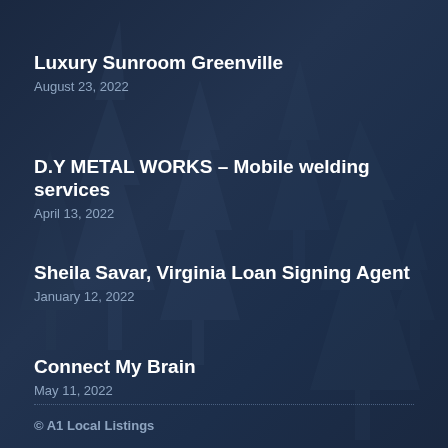Luxury Sunroom Greenville
August 23, 2022
D.Y METAL WORKS – Mobile welding services
April 13, 2022
Sheila Savar, Virginia Loan Signing Agent
January 12, 2022
Connect My Brain
May 11, 2022
© A1 Local Listings